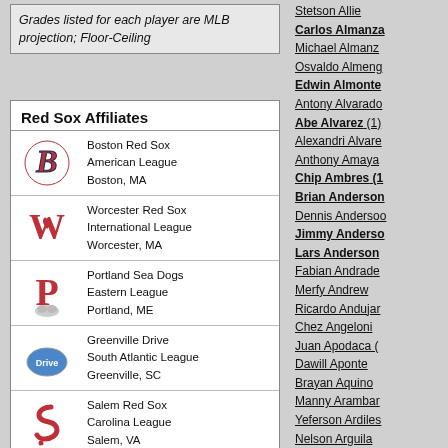Grades listed for each player are MLB projection; Floor-Ceiling
| Logo | Team Info |
| --- | --- |
| Boston Red Sox | American League | Boston, MA |
| Worcester Red Sox | International League | Worcester, MA |
| Portland Sea Dogs | Eastern League | Portland, ME |
| Greenville Drive | South Atlantic League | Greenville, SC |
| Salem Red Sox | Carolina League | Salem, VA |
Stetson Allie
Carlos Almanza
Michael Almanz
Osvaldo Almeng
Edwin Almonte
Antony Alvarado
Abe Alvarez (1)
Alexandri Alvare
Anthony Amaya
Chip Ambres (1
Brian Anderson
Dennis Andersoo
Jimmy Anderso
Lars Anderson
Fabian Andrade
Merfy Andrew
Ricardo Andujar
Chez Angeloni
Juan Apodaca (
Dawill Aponte
Brayan Aquino
Manny Arambar
Yeferson Ardiles
Nelson Arguila
Claudio Arias (1)
Jecorrah Arnold
Cody Asche
Miguel Asencio